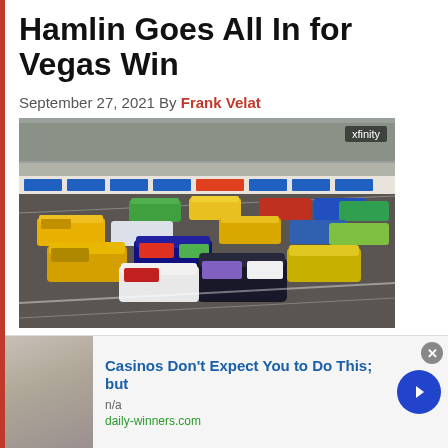Hamlin Goes All In for Vegas Win
September 27, 2021 By Frank Velat
[Figure (photo): NASCAR race at Las Vegas Motor Speedway showing multiple stock cars on track with grandstands in background, xfinity branding visible, GEICO sponsor banners on wall]
[Figure (photo): Advertisement: Casinos Don't Expect You to Do This; but — n/a — daily-winners.com, showing thumbnail image of man in blue shirt]